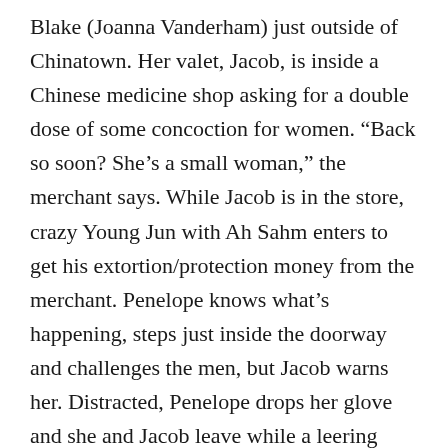Blake (Joanna Vanderham) just outside of Chinatown. Her valet, Jacob, is inside a Chinese medicine shop asking for a double dose of some concoction for women. “Back so soon? She’s a small woman,” the merchant says. While Jacob is in the store, crazy Young Jun with Ah Sahm enters to get his extortion/protection money from the merchant. Penelope knows what’s happening, steps just inside the doorway and challenges the men, but Jacob warns her. Distracted, Penelope drops her glove and she and Jacob leave while a leering Young Jun says he’d wouldn’t mind some sexual action with “crazy duck bitch” Penelope. Young Jun gets